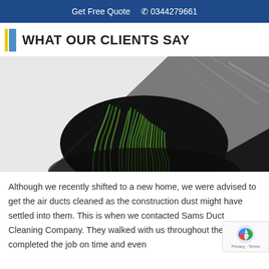Get Free Quote  📞 0344279661
WHAT OUR CLIENTS SAY
[Figure (photo): Close-up photograph of green grass or plant fibers coming through a circular dark duct opening, with white insulation material and grey ductwork visible.]
Although we recently shifted to a new home, we were advised to get the air ducts cleaned as the construction dust might have settled into them. This is when we contacted Sams Duct Cleaning Company. They walked with us throughout the process, completed the job on time and even